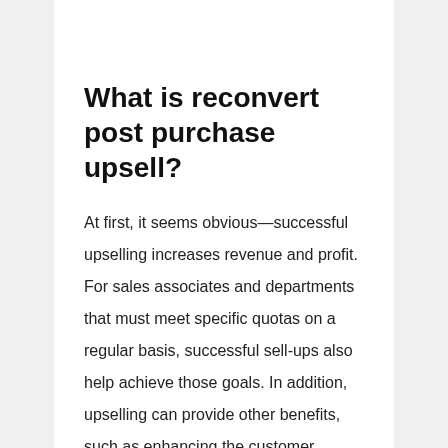What is reconvert post purchase upsell?
At first, it seems obvious—successful upselling increases revenue and profit. For sales associates and departments that must meet specific quotas on a regular basis, successful sell-ups also help achieve those goals. In addition, upselling can provide other benefits, such as enhancing the customer experience.